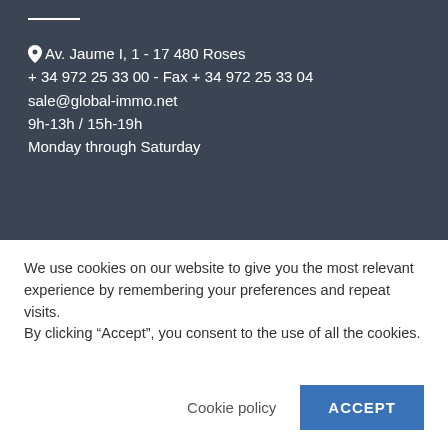Av. Jaume I, 1 - 17 480 Roses
+ 34 972 25 33 00 - Fax + 34 972 25 33 04
sale@global-immo.net
9h-13h / 15h-19h
Monday through Saturday
RENTAL
Av. Nord, 57 - 17 480 Roses
+ 34 972 25 78 17 (Ext. 2)
rent@global-immo.net
10h-13h / 15h-19h
Monday through Saturday
We use cookies on our website to give you the most relevant experience by remembering your preferences and repeat visits.
By clicking “Accept”, you consent to the use of all the cookies.
Cookie policy
ACCEPT